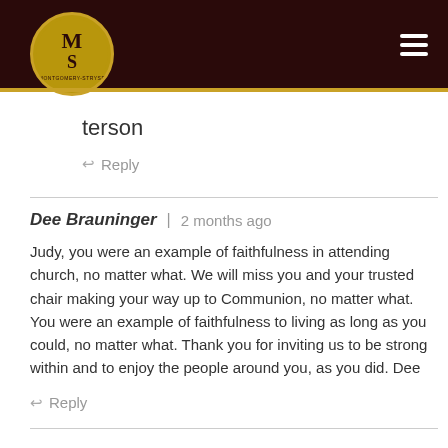Montgomery-Stryser
terson
↩ Reply
Dee Brauninger | 2 months ago
Judy, you were an example of faithfulness in attending church, no matter what. We will miss you and your trusted chair making your way up to Communion, no matter what. You were an example of faithfulness to living as long as you could, no matter what. Thank you for inviting us to be strong within and to enjoy the people around you, as you did. Dee
↩ Reply